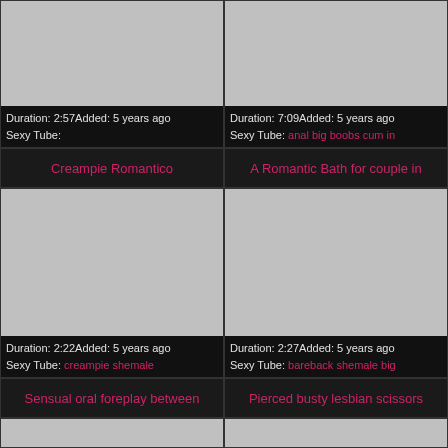[Figure (screenshot): Thumbnail placeholder top-left, gray rectangle]
Duration: 2:57Added: 5 years ago Sexy Tube:
[Figure (screenshot): Thumbnail placeholder top-right, gray rectangle]
Duration: 7:09Added: 5 years ago Sexy Tube: anal big boobs cum in
Creampie Romantico
A Romantic Bath for couple in
[Figure (screenshot): Thumbnail placeholder middle-left, gray rectangle]
Duration: 2:22Added: 5 years ago Sexy Tube: creampie shemale
[Figure (screenshot): Thumbnail placeholder middle-right, gray rectangle]
Duration: 2:27Added: 5 years ago Sexy Tube: bareback shemale big
Sensual oral foreplay between
Pierced busty lesbian scissors